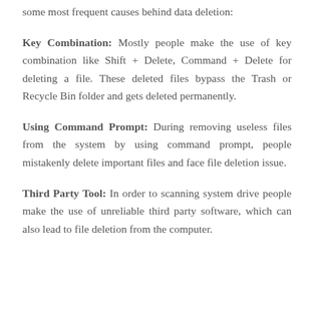some most frequent causes behind data deletion:
Key Combination: Mostly people make the use of key combination like Shift + Delete, Command + Delete for deleting a file. These deleted files bypass the Trash or Recycle Bin folder and gets deleted permanently.
Using Command Prompt: During removing useless files from the system by using command prompt, people mistakenly delete important files and face file deletion issue.
Third Party Tool: In order to scanning system drive people make the use of unreliable third party software, which can also lead to file deletion from the computer.